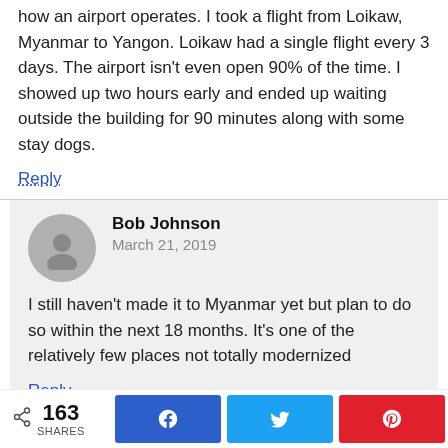how an airport operates. I took a flight from Loikaw, Myanmar to Yangon. Loikaw had a single flight every 3 days. The airport isn't even open 90% of the time. I showed up two hours early and ended up waiting outside the building for 90 minutes along with some stay dogs.
Reply
Bob Johnson
March 21, 2019
I still haven't made it to Myanmar yet but plan to do so within the next 18 months. It's one of the relatively few places not totally modernized
Reply
Leave a Reply
Your email address will not be published. Required
163 SHARES  [Facebook] [Twitter] [Pinterest]